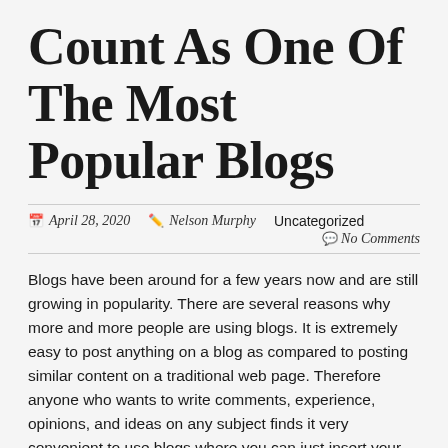Count As One Of The Most Popular Blogs
April 28, 2020  Nelson Murphy  Uncategorized  No Comments
Blogs have been around for a few years now and are still growing in popularity. There are several reasons why more and more people are using blogs. It is extremely easy to post anything on a blog as compared to posting similar content on a traditional web page. Therefore anyone who wants to write comments, experience, opinions, and ideas on any subject finds it very convenient to use blogs where you can just insert your postings without bothering about